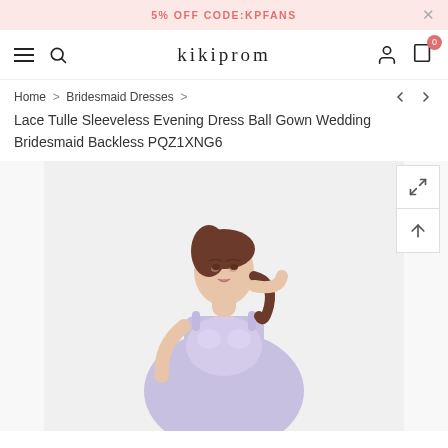5% OFF CODE:KPFANS
kikiprom
Home > Bridesmaid Dresses >
Lace Tulle Sleeveless Evening Dress Ball Gown Wedding Bridesmaid Backless PQZ1XNG6
[Figure (photo): Model wearing a light lavender lace tulle sleeveless ball gown bridesmaid dress, posing with hand near face, white background]